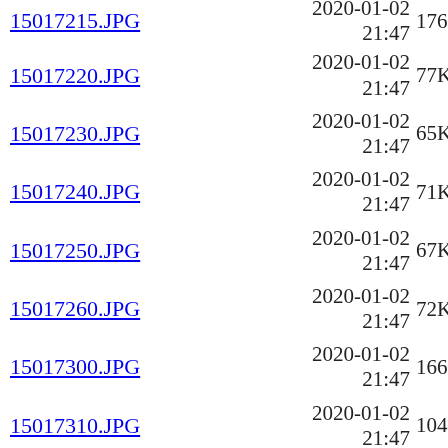15017215.JPG  2020-01-02 21:47  176K
15017220.JPG  2020-01-02 21:47  77K
15017230.JPG  2020-01-02 21:47  65K
15017240.JPG  2020-01-02 21:47  71K
15017250.JPG  2020-01-02 21:47  67K
15017260.JPG  2020-01-02 21:47  72K
15017300.JPG  2020-01-02 21:47  166K
15017310.JPG  2020-01-02 21:47  104K
15017420.JPG  2020-04-08 20:42  155K
16030001.JPG  2020-01-02 21:47  100K
16030200.jpg  2020-01-02 21:47  247K
16030205.jpg  2020-01-02 21:47  93K